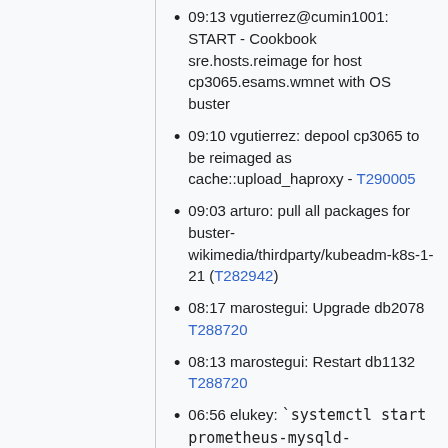09:13 vgutierrez@cumin1001: START - Cookbook sre.hosts.reimage for host cp3065.esams.wmnet with OS buster
09:10 vgutierrez: depool cp3065 to be reimaged as cache::upload_haproxy - T290005
09:03 arturo: pull all packages for buster-wikimedia/thirdparty/kubeadm-k8s-1-21 (T282942)
08:17 marostegui: Upgrade db2078 T288720
08:13 marostegui: Restart db1132 T288720
06:56 elukey: `systemctl start prometheus-mysqld-exporter@analytics_meta` on db1108
06:37 marostegui@cumin1001: END